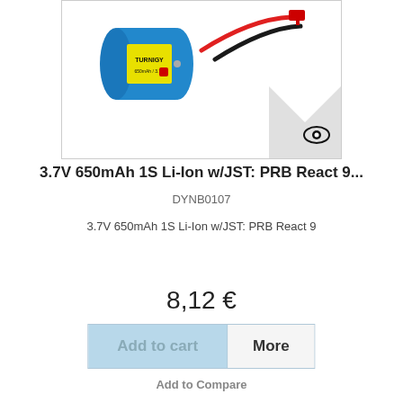[Figure (photo): Product photo of a 3.7V 650mAh 1S Li-Ion battery with JST connector (red and black wires), cylindrical blue body with label, shown on white background with an eye icon in the bottom-right corner.]
3.7V 650mAh 1S Li-Ion w/JST: PRB React 9...
DYNB0107
3.7V 650mAh 1S Li-Ion w/JST: PRB React 9
Out of stock
8,12 €
Add to cart
More
Add to Compare